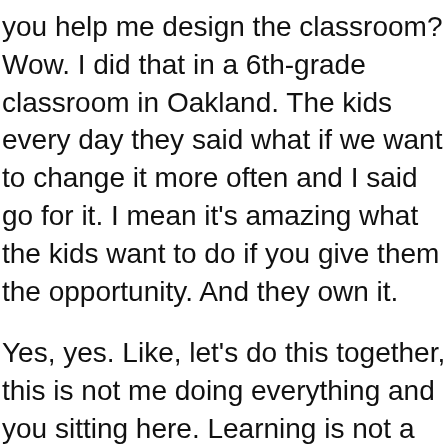you help me design the classroom? Wow. I did that in a 6th-grade classroom in Oakland. The kids every day they said what if we want to change it more often and I said go for it. I mean it’s amazing what the kids want to do if you give them the opportunity. And they own it.
Yes, yes. Like, let’s do this together, this is not me doing everything and you sitting here. Learning is not a passive activity.